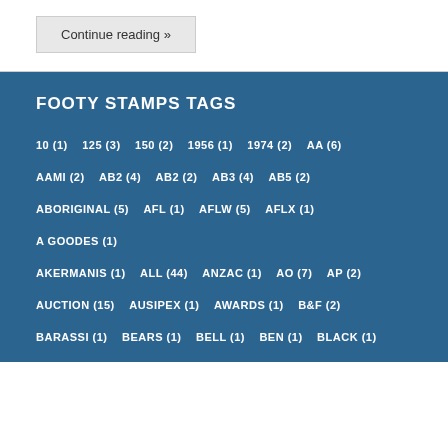Continue reading »
FOOTY STAMPS TAGS
10 (1)   125 (3)   150 (2)   1956 (1)   1974 (2)   AA (6)
AAMI (2)   AB2 (4)   AB2 (2)   AB3 (4)   AB5 (2)
ABORIGINAL (5)   AFL (1)   AFLW (5)   AFLX (1)   A GOODES (1)
AKERMANIS (1)   ALL (44)   ANZAC (1)   AO (7)   AP (2)
AUCTION (15)   AUSIPEX (1)   AWARDS (1)   B&F (2)
BARASSI (1)   BEARS (1)   BELL (1)   BEN (1)   BLACK (1)
BLIMP (1)   BLUES (6)   BOMBERS (9)   BOOK (3)
BOOKLET (18)   BOOKLETS (1)   BOWRAL (2)   BP (2)
BRADMAN (8)   BRETT HARVEY (1)   BROWNLOW (22)   BSC (1)
BUCKLEY (1)   BULLDOGS (6)   CANADA (1)   CAPTAIN (3)